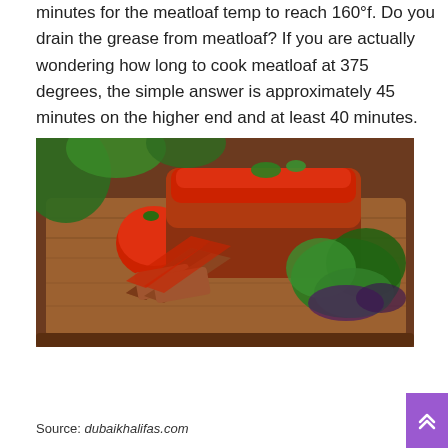minutes for the meatloaf temp to reach 160°f. Do you drain the grease from meatloaf? If you are actually wondering how long to cook meatloaf at 375 degrees, the simple answer is approximately 45 minutes on the higher end and at least 40 minutes.
[Figure (photo): A sliced meatloaf with tomato glaze on top, displayed on a wooden cutting board, surrounded by fresh tomatoes, green lettuce, and herbs.]
Source: dubaikhalifas.com